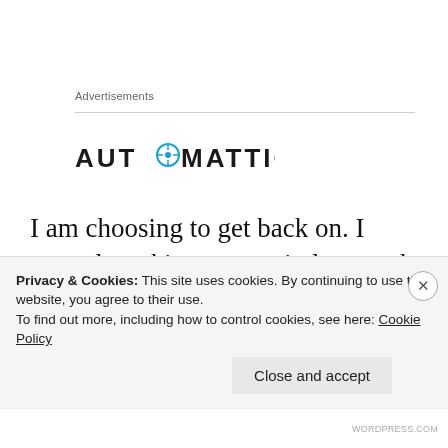Advertisements
[Figure (logo): Automattic logo — wordmark in dark text with a blue compass/circle icon replacing the letter O]
I am choosing to get back on. I started working out again last week; I also have a workout buddy which makes working out early much easier. I find that working out in a group or with someone else makes the workouts easier to do and it helps to push me when I don't want to
Privacy & Cookies: This site uses cookies. By continuing to use this website, you agree to their use.
To find out more, including how to control cookies, see here: Cookie Policy
Close and accept